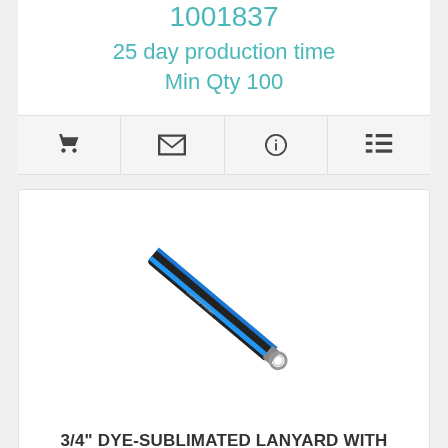1001837
25 day production time
Min Qty 100
[Figure (photo): A dye-sublimated lanyard with metal crimp and metal split-ring, shown diagonally. The lanyard is black with a blue stripe and printed text.]
3/4" DYE-SUBLIMATED LANYARD WITH METAL CRIMP & METAL SPLIT-RING
# LS34M